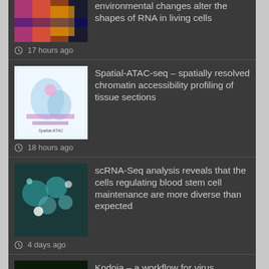environmental changes alter the shapes of RNA in living cells
17 hours ago
Spatial-ATAC-seq – spatially resolved chromatin accessibility profiling of tissue sections
18 hours ago
scRNA-Seq analysis reveals that the cells regulating blood stem cell maintenance are more diverse than expected
4 days ago
Kodoja – a workflow for virus detection in plants using k-mer analysis of RNA-sequencing data
4 days ago
Live-seq – sequencing a cell without killing it
5 days ago